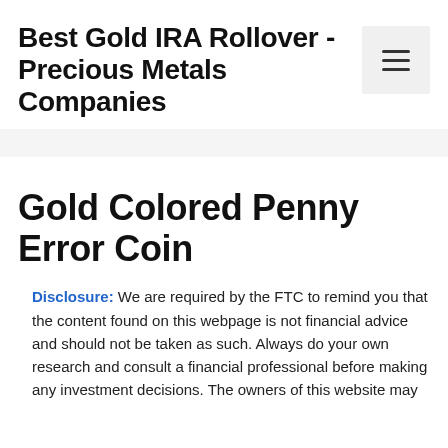Best Gold IRA Rollover - Precious Metals Companies
Gold Colored Penny Error Coin
Disclosure: We are required by the FTC to remind you that the content found on this webpage is not financial advice and should not be taken as such. Always do your own research and consult a financial professional before making any investment decisions. The owners of this website may